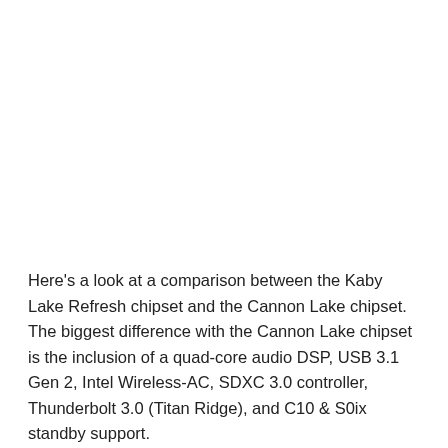Here's a look at a comparison between the Kaby Lake Refresh chipset and the Cannon Lake chipset. The biggest difference with the Cannon Lake chipset is the inclusion of a quad-core audio DSP, USB 3.1 Gen 2, Intel Wireless-AC, SDXC 3.0 controller, Thunderbolt 3.0 (Titan Ridge), and C10 & S0ix standby support.